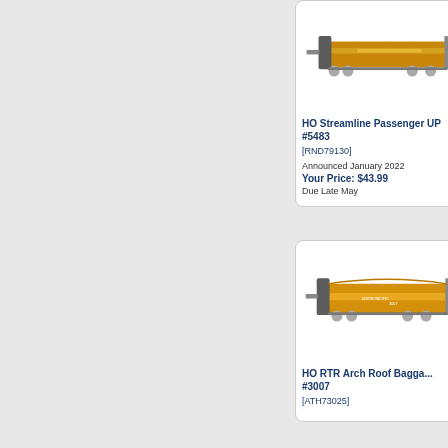[Figure (photo): HO Streamline Passenger car UP #5483 - model train image showing a yellow/orange passenger car with gray ends]
HO Streamline Passenger UP #5483
[RND79130]
Announced January 2022
Your Price: $43.99
Due Late May
[Figure (photo): HO RTR Arch Roof Baggage car #3007 - model train image showing a yellow/orange baggage car with gray ends]
HO RTR Arch Roof Bagga... #3007
[ATH73025]